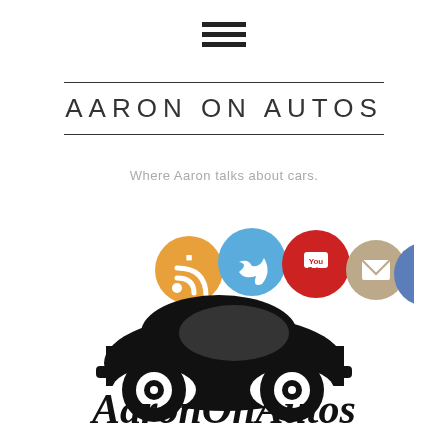[Figure (logo): Hamburger menu icon (three horizontal black lines)]
AARON ON AUTOS
Where Aaron talks about cars.
[Figure (logo): AaronOnAutos logo: black silhouette of a vintage VW Beetle car with five social media icons (RSS orange, Twitter blue, YouTube red, Email tan, Facebook blue) on the roof, and bold italic text 'AaronOnAutos' below the car]